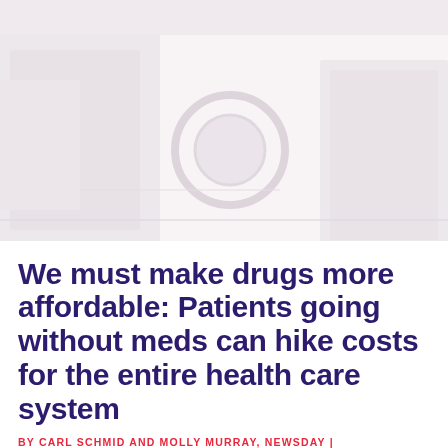[Figure (photo): Faded background image of a healthcare/medical setting with soft pink and grey tones, suggesting a hospital or medical environment]
We must make drugs more affordable: Patients going without meds can hike costs for the entire health care system
BY CARL SCHMID AND MOLLY MURRAY, NEWSDAY |